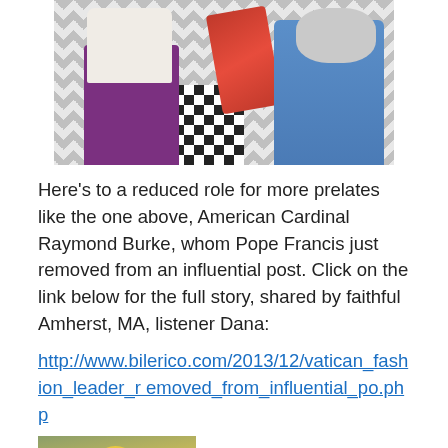[Figure (photo): A person in white robes and purple vestments holding red fabric, standing on a black and white checkerboard floor, with a person in a blue shirt visible on the right.]
Here’s to a reduced role for more prelates like the one above, American Cardinal Raymond Burke, whom Pope Francis just removed from an influential post. Click on the link below for the full story, shared by faithful Amherst, MA, listener Dana:
http://www.bilerico.com/2013/12/vatican_fashion_leader_removed_from_influential_po.php
[Figure (photo): Partial view of a second image showing green/gold fabric with a yellow egg-like shape, cropped at the bottom of the page.]